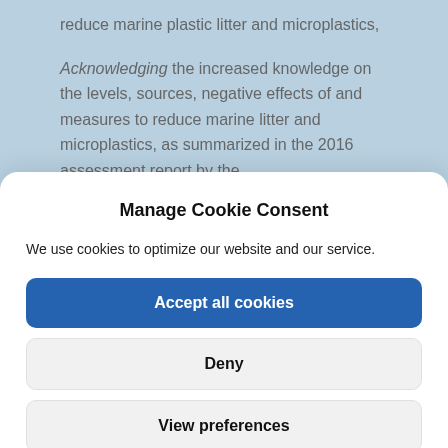reduce marine plastic litter and microplastics,
Acknowledging the increased knowledge on the levels, sources, negative effects of and measures to reduce marine litter and microplastics, as summarized in the 2016 assessment report by the
Manage Cookie Consent
We use cookies to optimize our website and our service.
Accept all cookies
Deny
View preferences